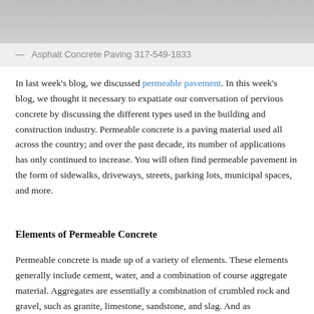[Figure (photo): A photograph at the top of the page, partially cropped, showing a paving or construction scene.]
— Asphalt Concrete Paving 317-549-1833
In last week's blog, we discussed permeable pavement. In this week's blog, we thought it necessary to expatiate our conversation of pervious concrete by discussing the different types used in the building and construction industry. Permeable concrete is a paving material used all across the country; and over the past decade, its number of applications has only continued to increase. You will often find permeable pavement in the form of sidewalks, driveways, streets, parking lots, municipal spaces, and more.
Elements of Permeable Concrete
Permeable concrete is made up of a variety of elements. These elements generally include cement, water, and a combination of course aggregate material. Aggregates are essentially a combination of crumbled rock and gravel, such as granite, limestone, sandstone, and slag. And as